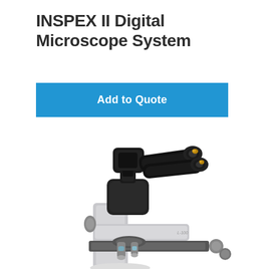INSPEX II Digital Microscope System
Add to Quote
[Figure (photo): Photo of an INSPEX II Digital Microscope System showing a white/silver microscope body with black trinocular head, digital camera attachment, and objective lenses on a revolving nosepiece, photographed on a white background.]